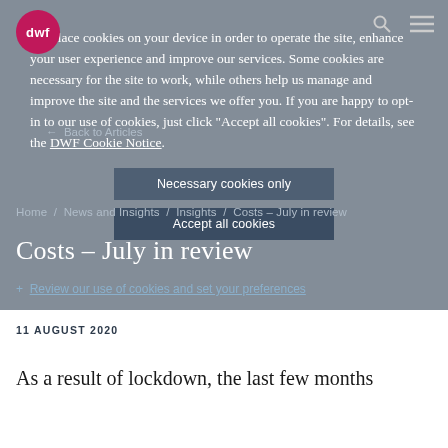[Figure (logo): DWF logo: pink/red circle with white 'dwf' text]
We place cookies on your device in order to operate the site, enhance your user experience and improve our services. Some cookies are necessary for the site to work, while others help us manage and improve the site and the services we offer you. If you are happy to opt-in to our use of cookies, just click "Accept all cookies". For details, see the DWF Cookie Notice.
Necessary cookies only
Accept all cookies
← Back to Articles
Home / News and Insights / Insights / Costs – July in review
Costs – July in review
+ Review our use of cookies and set your preferences
11 AUGUST 2020
As a result of lockdown, the last few months